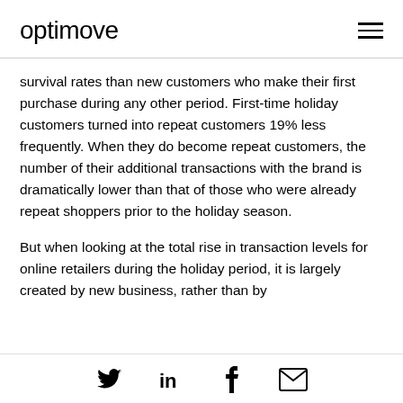optimove
survival rates than new customers who make their first purchase during any other period. First-time holiday customers turned into repeat customers 19% less frequently. When they do become repeat customers, the number of their additional transactions with the brand is dramatically lower than that of those who were already repeat shoppers prior to the holiday season.
But when looking at the total rise in transaction levels for online retailers during the holiday period, it is largely created by new business, rather than by
Social icons: Twitter, LinkedIn, Facebook, Email